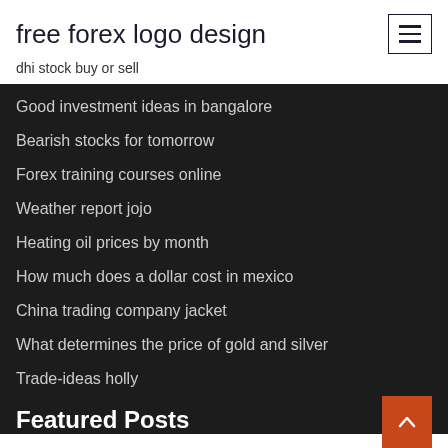free forex logo design
dhi stock buy or sell
Good investment ideas in bangalore
Bearish stocks for tomorrow
Forex training courses online
Weather report jojo
Heating oil prices by month
How much does a dollar cost in mexico
China trading company jacket
What determines the price of gold and silver
Trade-ideas holly
Featured Posts